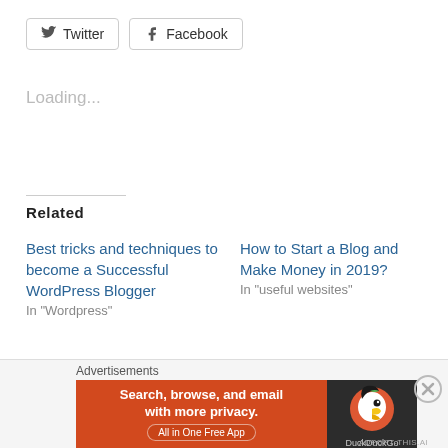[Figure (other): Twitter share button with bird icon]
[Figure (other): Facebook share button with f icon]
Loading...
Related
Best tricks and techniques to become a Successful WordPress Blogger
In "Wordpress"
How to Start a Blog and Make Money in 2019?
In "useful websites"
Blogging Vs Vlogging: Which is better for you?
In "useful websites"
Advertisements
[Figure (other): DuckDuckGo advertisement banner: Search, browse, and email with more privacy. All in One Free App]